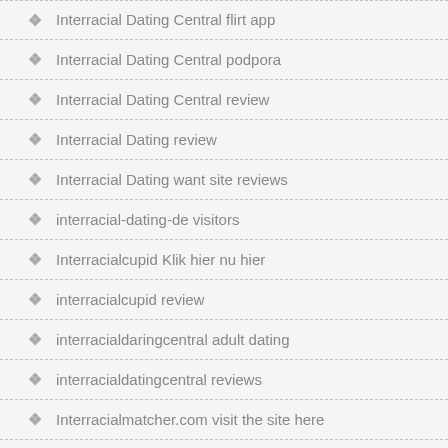Interracial Dating Central flirt app
Interracial Dating Central podpora
Interracial Dating Central review
Interracial Dating review
Interracial Dating want site reviews
interracial-dating-de visitors
Interracialcupid Klik hier nu hier
interracialcupid review
interracialdaringcentral adult dating
interracialdatingcentral reviews
Interracialmatcher.com visit the site here